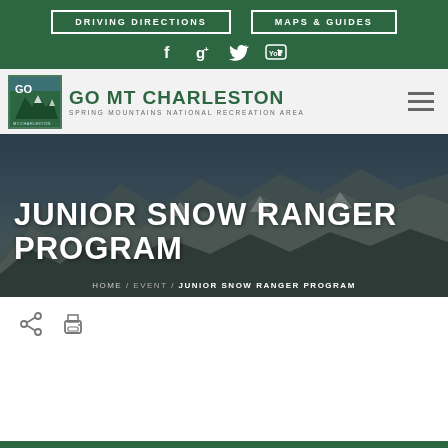DRIVING DIRECTIONS | MAPS & GUIDES
[Figure (logo): GO MT CHARLESTON - Spring Mountains National Recreation Area logo with green badge and site name]
JUNIOR SNOW RANGER PROGRAM
HOME / EVENT / JUNIOR SNOW RANGER PROGRAM
[Figure (other): Share and print action icons]